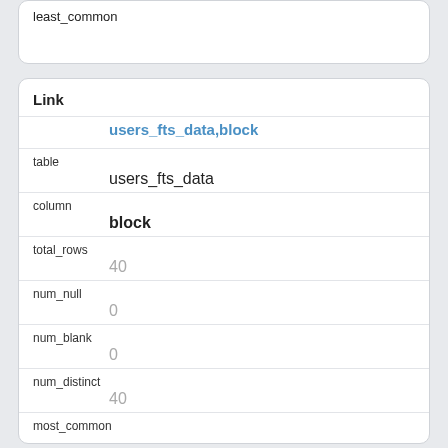least_common
Link
users_fts_data,block
table
    users_fts_data
column
    block
total_rows
    40
num_null
    0
num_blank
    0
num_distinct
    40
most_common
least_common